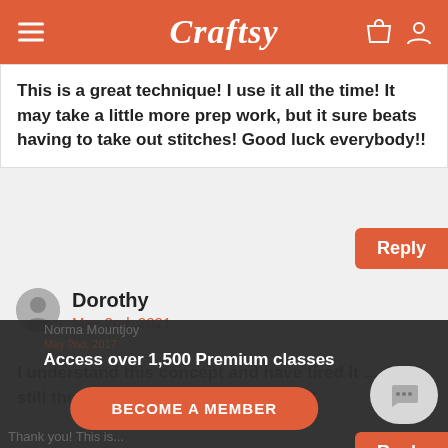Craftsy
This is a great technique! I use it all the time! It may take a little more prep work, but it sure beats having to take out stitches! Good luck everybody!!
Reply
Dorothy
May 2nd, 2021
I understand this concept and have tired it .... but I still think it is difficult to accomplish!
Reply
Access over 1,500 Premium classes
BECOME A MEMBER